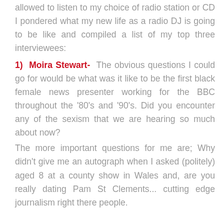allowed to listen to my choice of radio station or CD I pondered what my new life as a radio DJ is going to be like and compiled a list of my top three interviewees:
1) Moira Stewart- The obvious questions I could go for would be what was it like to be the first black female news presenter working for the BBC throughout the '80's and '90's. Did you encounter any of the sexism that we are hearing so much about now?
The more important questions for me are; Why didn't give me an autograph when I asked (politely) aged 8 at a county show in Wales and, are you really dating Pam St Clements... cutting edge journalism right there people.